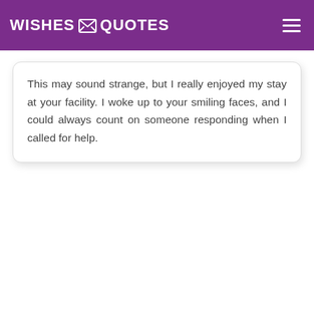[Figure (logo): Wishes Quotes website logo with envelope icon, white text on purple header bar, with hamburger menu icon on the right]
This may sound strange, but I really enjoyed my stay at your facility. I woke up to your smiling faces, and I could always count on someone responding when I called for help.